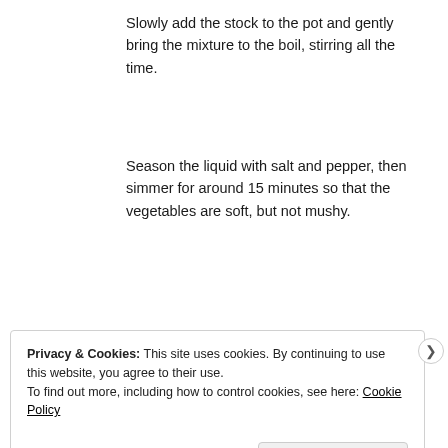Slowly add the stock to the pot and gently bring the mixture to the boil, stirring all the time.
Season the liquid with salt and pepper, then simmer for around 15 minutes so that the vegetables are soft, but not mushy.
Finally add the chicken and parsley and simmer for another 30 minutes.
[Figure (other): Advertisement banner with purple and dark blue gradient design and cyan accent element on right]
REPORT THIS AD
Privacy & Cookies: This site uses cookies. By continuing to use this website, you agree to their use.
To find out more, including how to control cookies, see here: Cookie Policy
Close and accept